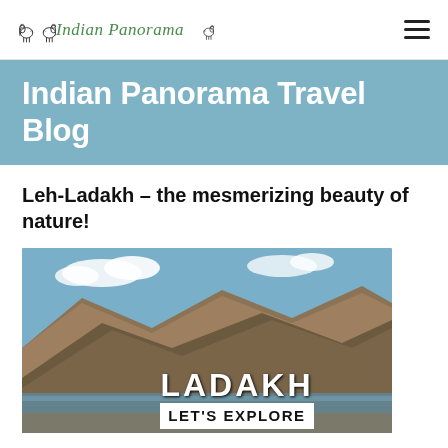Indian Panorama
Indian Panorama Travel Blog
Leh-Ladakh – the mesmerizing beauty of nature!
[Figure (photo): Ladakh landscape photo showing brown mountains against blue sky with a lake, text overlay reading LADAKH LET'S EXPLORE]